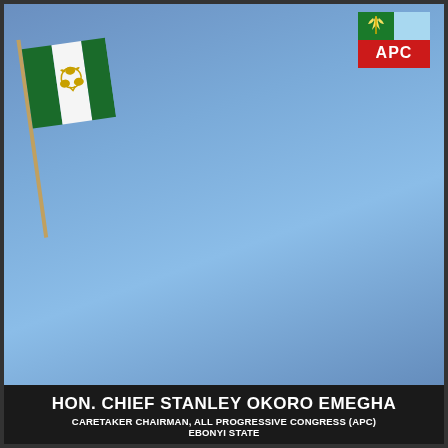[Figure (photo): Official portrait of Hon. Chief Stanley Okoro Emegha wearing a red traditional cap and beige agbada, with Nigerian national flag in background and APC party logo in top right corner]
HON. CHIEF STANLEY OKORO EMEGHA
CARETAKER CHAIRMAN, ALL PROGRESSIVE CONGRESS (APC)
EBONYI STATE